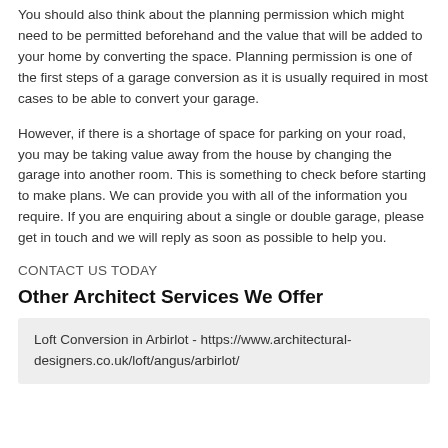You should also think about the planning permission which might need to be permitted beforehand and the value that will be added to your home by converting the space. Planning permission is one of the first steps of a garage conversion as it is usually required in most cases to be able to convert your garage.
However, if there is a shortage of space for parking on your road, you may be taking value away from the house by changing the garage into another room. This is something to check before starting to make plans. We can provide you with all of the information you require. If you are enquiring about a single or double garage, please get in touch and we will reply as soon as possible to help you.
CONTACT US TODAY
Other Architect Services We Offer
Loft Conversion in Arbirlot - https://www.architectural-designers.co.uk/loft/angus/arbirlot/